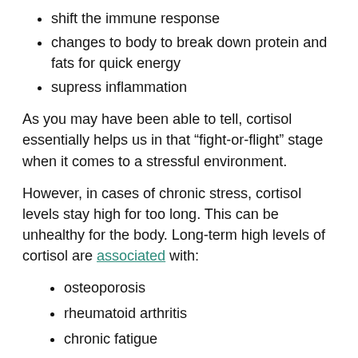shift the immune response
changes to body to break down protein and fats for quick energy
supress inflammation
As you may have been able to tell, cortisol essentially helps us in that “fight-or-flight” stage when it comes to a stressful environment.
However, in cases of chronic stress, cortisol levels stay high for too long. This can be unhealthy for the body. Long-term high levels of cortisol are associated with:
osteoporosis
rheumatoid arthritis
chronic fatigue
high blood pressure
increased levels of pain